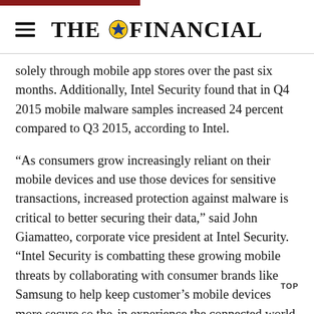THE FINANCIAL
solely through mobile app stores over the past six months. Additionally, Intel Security found that in Q4 2015 mobile malware samples increased 24 percent compared to Q3 2015, according to Intel.
“As consumers grow increasingly reliant on their mobile devices and use those devices for sensitive transactions, increased protection against malware is critical to better securing their data,” said John Giamatteo, corporate vice president at Intel Security. “Intel Security is combatting these growing mobile threats by collaborating with consumer brands like Samsung to help keep customer’s mobile devices more secure so the an experience the connected world with confidence."